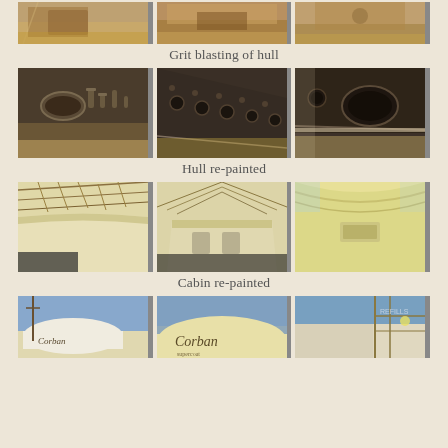[Figure (photo): Three photos of grit blasting of hull - sandy/dusty environment showing hull being blasted]
Grit blasting of hull
[Figure (photo): Three photos showing hull re-painted dark color with portholes/fittings visible]
Hull re-painted
[Figure (photo): Three photos showing cabin re-painted in yellow/cream color inside large workshop]
Cabin re-painted
[Figure (photo): Three partial photos at bottom showing Corban branded vessel/building exterior]